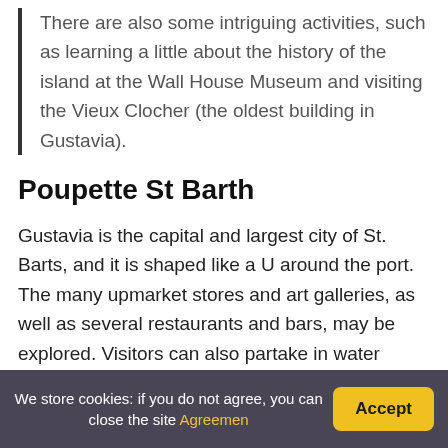There are also some intriguing activities, such as learning a little about the history of the island at the Wall House Museum and visiting the Vieux Clocher (the oldest building in Gustavia).
Poupette St Barth
Gustavia is the capital and largest city of St. Barts, and it is shaped like a U around the port. The many upmarket stores and art galleries, as well as several restaurants and bars, may be explored. Visitors can also partake in water sports with a local outfitter.
We store cookies: if you do not agree, you can close the site Agreemen